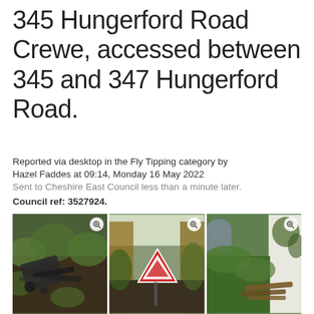345 Hungerford Road Crewe, accessed between 345 and 347 Hungerford Road.
Reported via desktop in the Fly Tipping category by Hazel Faddes at 09:14, Monday 16 May 2022
Sent to Cheshire East Council less than a minute later.
Council ref: 3527924.
[Figure (photo): Three photographs of fly-tipped waste in a narrow alleyway/passageway, including old furniture and a road sign, with overgrown vegetation. Each photo has a zoom icon in the top right corner.]